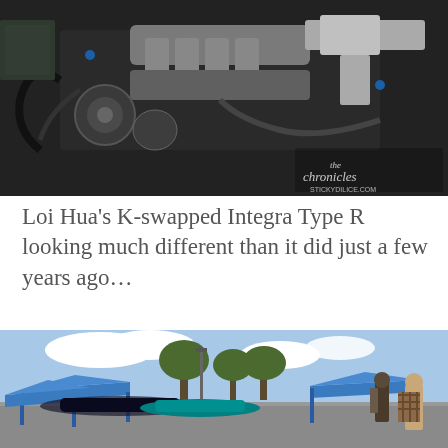[Figure (photo): Engine bay photo of a K-swapped Honda Integra Type R showing a clean engine build with intake manifold, valve cover, and engine bay components. Watermark reads 'the chronicles' and 'stickydilice.com' in bottom right corner.]
Loi Hua's K-swapped Integra Type R looking much different than it did just a few years ago…
[Figure (photo): Outdoor car show in a parking lot with blue canopy tents, several modified cars on display, trees and cloudy sky in background, and people walking around.]